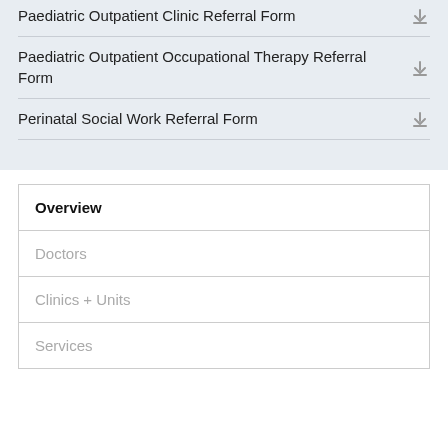Paediatric Outpatient Clinic Referral Form
Paediatric Outpatient Occupational Therapy Referral Form
Perinatal Social Work Referral Form
Overview
Doctors
Clinics + Units
Services